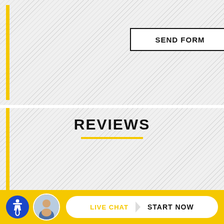SEND FORM
REVIEWS
[Figure (infographic): Google Rating widget showing 4.8 stars based on 48 reviews with Google G logo and green top bar]
Google Rating
4.8
Based on 48 reviews
LIVE CHAT  START NOW